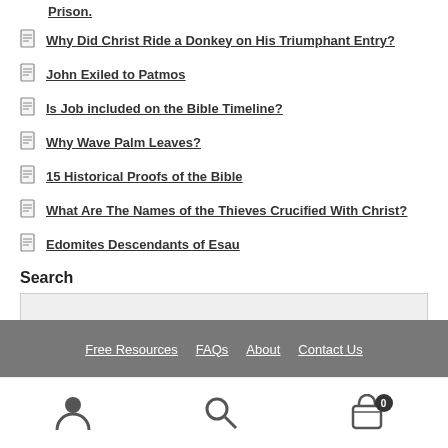Prison.
Why Did Christ Ride a Donkey on His Triumphant Entry?
John Exiled to Patmos
Is Job included on the Bible Timeline?
Why Wave Palm Leaves?
15 Historical Proofs of the Bible
What Are The Names of the Thieves Crucified With Christ?
Edomites Descendants of Esau
Search
Free Resources   FAQs   About   Contact Us